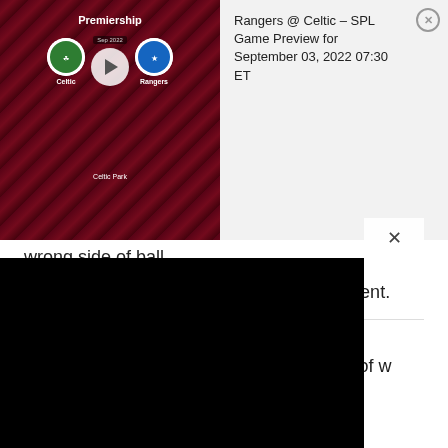[Figure (screenshot): Video thumbnail showing Celtic vs Rangers Premiership match preview with team crests, play button, and date September 2022]
Rangers @ Celtic – SPL Game Preview for September 03, 2022 07:30 ET
wrong side of ball.
Need quick improvement or more recruitment.
CARDBOARDCSC on 5TH AUGUST 2021 1:03 PM
Turk. Mistake was maybe a wrong choice of w
[Figure (screenshot): Black video player overlay covering bottom portion of the page with an X close button]